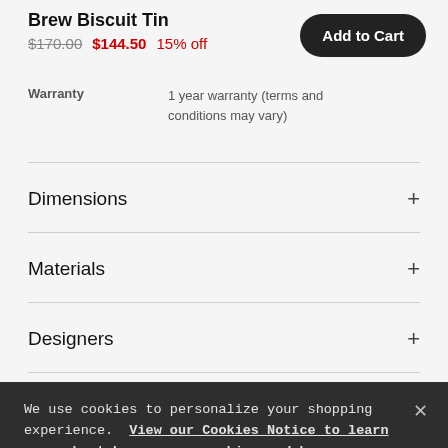Brew Biscuit Tin
$170.00  $144.50  15% off
Add to Cart
| Warranty |  |
| --- | --- |
| Warranty | 1 year warranty (terms and conditions may vary) |
Dimensions
Materials
Designers
We use cookies to personalize your shopping experience. View our Cookies Notice to learn more about how we use cookies and how you can manage them.